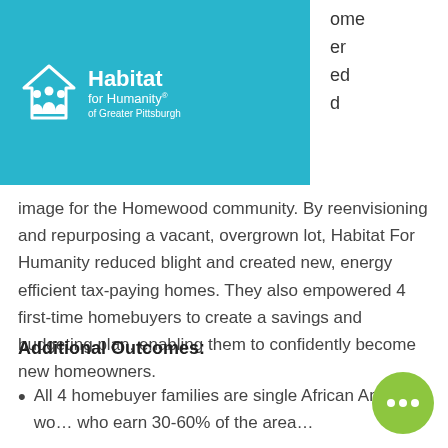Habitat for Humanity of Greater Pittsburgh — Navigation bar with Donate button
image for the Homewood community. By reenvisioning and repurposing a vacant, overgrown lot, Habitat For Humanity reduced blight and created new, energy efficient tax-paying homes. They also empowered 4 first-time homebuyers to create a savings and budgeting plan, enabling them to confidently become new homeowners.
Additional Outcomes:
All 4 homebuyer families are single African American wo… who earn 30-60% of the area…